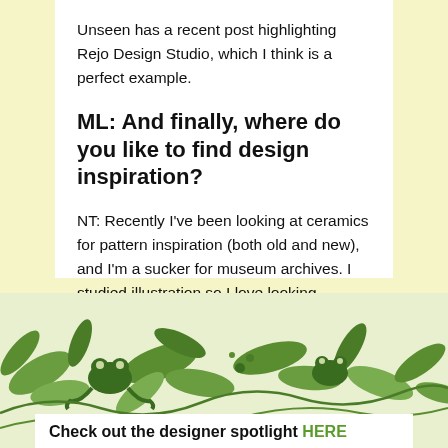Unseen has a recent post highlighting Rejo Design Studio, which I think is a perfect example.
ML: And finally, where do you like to find design inspiration?
NT: Recently I've been looking at ceramics for pattern inspiration (both old and new), and I'm a sucker for museum archives. I studied illustration so I love looking through old children's books, and whenever The Morgan Library has originals on display, I'm there!
[Figure (illustration): Decorative botanical illustration with green leaves and animals on a light background]
Check out the designer spotlight HERE